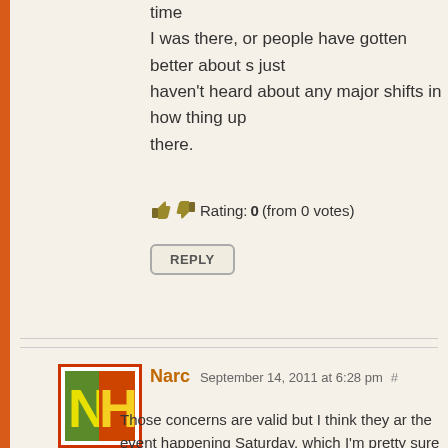time
I was there, or people have gotten better about s just
haven't heard about any major shifts in how thing up
there.
Rating: 0 (from 0 votes)
REPLY
Narc September 14, 2011 at 6:28 pm #
Those concerns are valid but I think they ar the event happening Saturday, which I'm pretty sure coordination with the local park service people. I bel